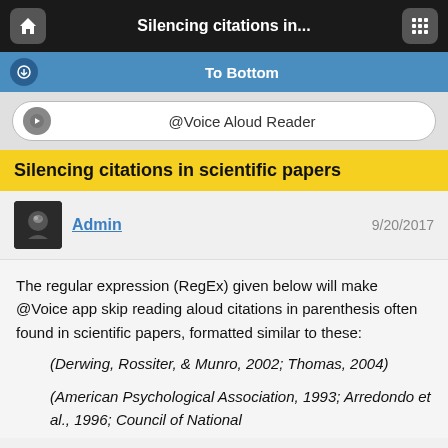Silencing citations in...
To Bottom
@Voice Aloud Reader
Silencing citations in scientific papers
Admin  9/20/2017
The regular expression (RegEx) given below will make @Voice app skip reading aloud citations in parenthesis often found in scientific papers, formatted similar to these:
(Derwing, Rossiter, & Munro, 2002; Thomas, 2004)
(American Psychological Association, 1993; Arredondo et al., 1996; Council of National